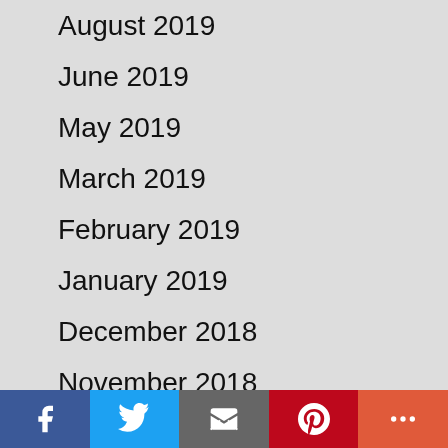August 2019
June 2019
May 2019
March 2019
February 2019
January 2019
December 2018
November 2018
October 2018
August 2018
July 2018
June 2018
April 2018
Facebook Twitter Email Pinterest More